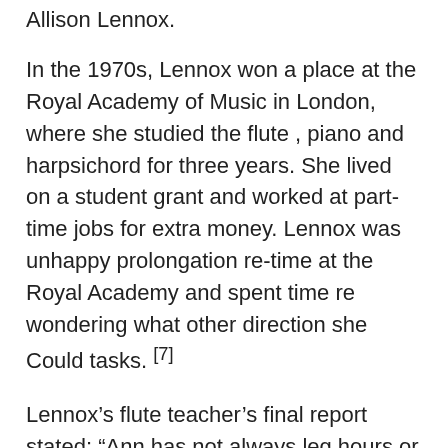Allison Lennox.
In the 1970s, Lennox won a place at the Royal Academy of Music in London, where she studied the flute , piano and harpsichord for three years. She lived on a student grant and worked at part-time jobs for extra money. Lennox was unhappy prolongation re-time at the Royal Academy and spent time re wondering what other direction she Could tasks. [7]
Lennox’s flute teacher’s final report stated: “Ann has not always leg hours or where to direct re policymaking, though lately she has leg more committed. She is very, very loveable, however.” Two years later, Lennox Reported to the Academy: “I have had to work as a waitress, barmaid, and shop assistant to keep me-when